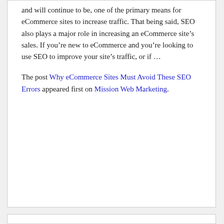and will continue to be, one of the primary means for eCommerce sites to increase traffic. That being said, SEO also plays a major role in increasing an eCommerce site's sales. If you're new to eCommerce and you're looking to use SEO to improve your site's traffic, or if […]
The post Why eCommerce Sites Must Avoid These SEO Errors appeared first on Mission Web Marketing.